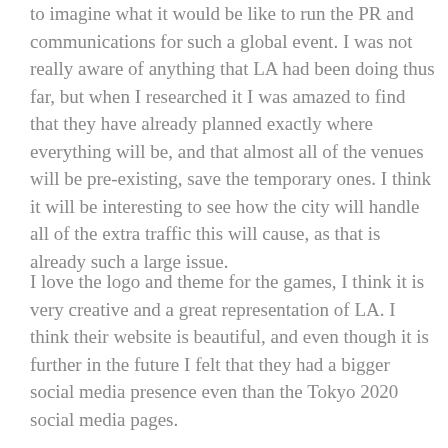to imagine what it would be like to run the PR and communications for such a global event. I was not really aware of anything that LA had been doing thus far, but when I researched it I was amazed to find that they have already planned exactly where everything will be, and that almost all of the venues will be pre-existing, save the temporary ones. I think it will be interesting to see how the city will handle all of the extra traffic this will cause, as that is already such a large issue.
I love the logo and theme for the games, I think it is very creative and a great representation of LA. I think their website is beautiful, and even though it is further in the future I felt that they had a bigger social media presence even than the Tokyo 2020 social media pages.